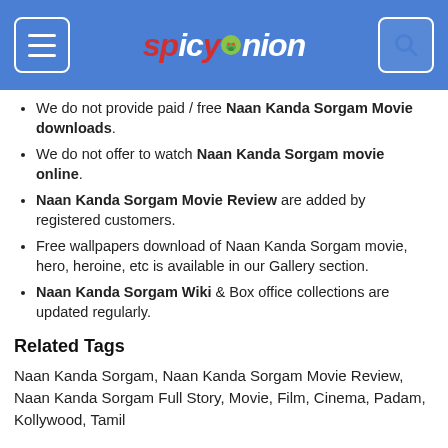spicyonion
We do not provide paid / free Naan Kanda Sorgam Movie downloads.
We do not offer to watch Naan Kanda Sorgam movie online.
Naan Kanda Sorgam Movie Review are added by registered customers.
Free wallpapers download of Naan Kanda Sorgam movie, hero, heroine, etc is available in our Gallery section.
Naan Kanda Sorgam Wiki & Box office collections are updated regularly.
Related Tags
Naan Kanda Sorgam, Naan Kanda Sorgam Movie Review, Naan Kanda Sorgam Full Story, Movie, Film, Cinema, Padam, Kollywood, Tamil
Naan Kanda Sorgam